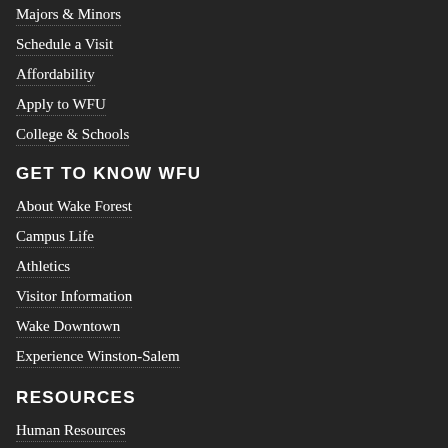Majors & Minors
Schedule a Visit
Affordability
Apply to WFU
College & Schools
GET TO KNOW WFU
About Wake Forest
Campus Life
Athletics
Visitor Information
Wake Downtown
Experience Winston-Salem
RESOURCES
Human Resources
Event Calendar